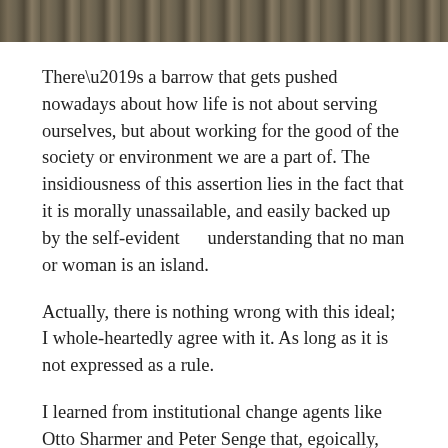[Figure (photo): Photograph strip at top of page showing a natural outdoor scene with grass or vegetation, rendered in grayscale/sepia tones.]
There’s a barrow that gets pushed nowadays about how life is not about serving ourselves, but about working for the good of the society or environment we are a part of. The insidiousness of this assertion lies in the fact that it is morally unassailable, and easily backed up by the self-evident     understanding that no man or woman is an island.
Actually, there is nothing wrong with this ideal; I whole-heartedly agree with it. As long as it is not expressed as a rule.
I learned from institutional change agents like Otto Sharmer and Peter Senge that, egoically, humans have a conforming